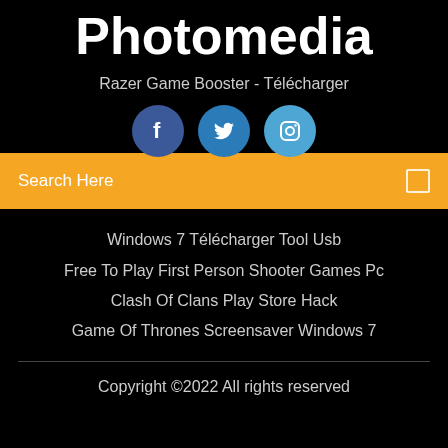Photomedia
Razer Game Booster - Télécharger
[Figure (other): Three social media icons: Facebook (dark blue circle with f), Twitter (medium blue circle with bird icon), Instagram (light blue circle with camera icon)]
Search Here
Windows 7 Télécharger Tool Usb
Free To Play First Person Shooter Games Pc
Clash Of Clans Play Store Hack
Game Of Thrones Screensaver Windows 7
Copyright ©2022 All rights reserved